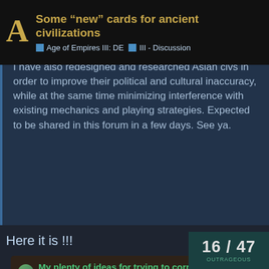Some "new" cards for ancient civilizations | Age of Empires III: DE | III - Discussion
I have also redesigned and researched Asian civs in order to improve their political and cultural inaccuracy, while at the same time minimizing interference with existing mechanics and playing strategies. Expected to be shared in this forum in a few days. See ya.
Here it is !!!
My plenty of ideas for trying to correct 3 Asian civs — III - Discussion
Hello. Here I would like to share my ideas for the Asian civs. Try to redesign and to research Asian civs in order to improve their political and cultural incorrectness, while at the same time trying to minimize interference with the main meta and the way to play. The link below is about my ideas for the European, US and Native America civs. Parts of the content there will be related to this thread. Due to contents below, sincerely thank you for re
16 / 47